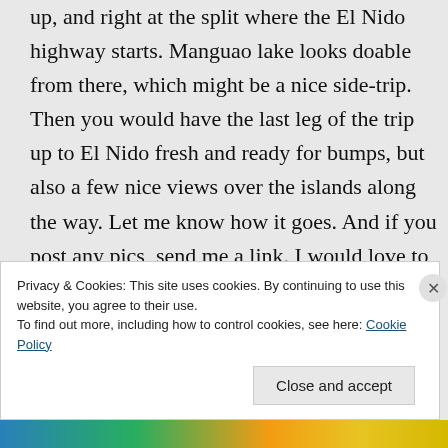up, and right at the split where the El Nido highway starts. Manguao lake looks doable from there, which might be a nice side-trip. Then you would have the last leg of the trip up to El Nido fresh and ready for bumps, but also a few nice views over the islands along the way. Let me know how it goes. And if you post any pics, send me a link. I would love to know if there are any cool finds along that road!! Safe travels!
Like
Privacy & Cookies: This site uses cookies. By continuing to use this website, you agree to their use. To find out more, including how to control cookies, see here: Cookie Policy
Close and accept